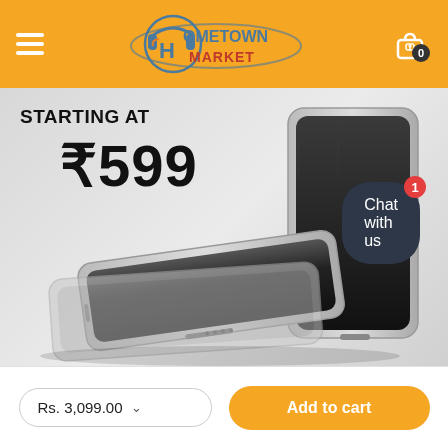[Figure (logo): Hometown Market logo with headphone mascot and orange swoosh on orange header bar]
[Figure (photo): Product promotional image showing power banks/mobile devices with text 'STARTING AT ₹599' on a light grey background]
Chat with us
Rs. 3,099.00
Add to cart